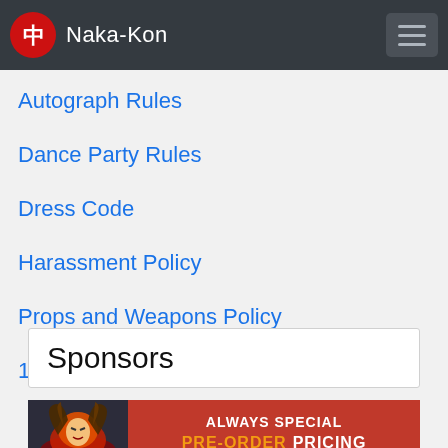Naka-Kon
Autograph Rules
Dance Party Rules
Dress Code
Harassment Policy
Props and Weapons Policy
18+ Wristband Policy
Sponsors
[Figure (illustration): Advertisement banner with anime-style character on left and red background with text 'ALWAYS SPECIAL PRE-ORDER PRICING' on right]